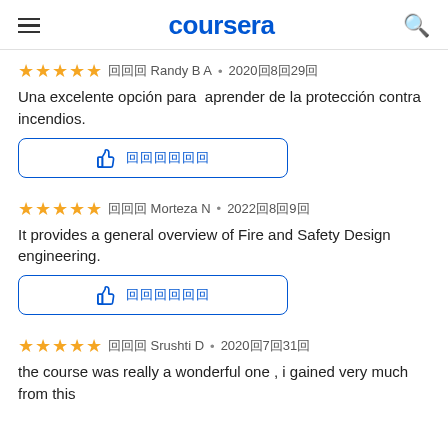coursera
⭐⭐⭐⭐⭐ 由 Randy B A · 2020年8月29日
Una excelente opción para  aprender de la protección contra incendios.
[Figure (other): Helpful button with thumbs up icon and placeholder text]
⭐⭐⭐⭐⭐ 由 Morteza N · 2022年8月9日
It provides a general overview of Fire and Safety Design engineering.
[Figure (other): Helpful button with thumbs up icon and placeholder text]
⭐⭐⭐⭐⭐ 由 Srushti D · 2020年7月31日
the course was really a wonderful one , i gained very much from this